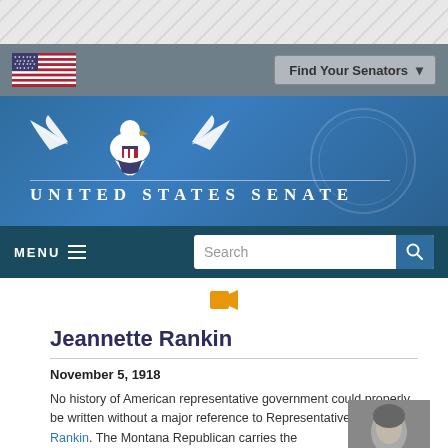United States Senate website header with flag and Find Your Senators navigation
[Figure (logo): United States Senate eagle logo with UNITED STATES SENATE text]
MENU navigation bar with Search input
[Figure (other): Video camera icon (orange)]
Jeannette Rankin
November 5, 1918
No history of American representative government could properly be written without a major reference to Representative Jeannette Rankin. The Montana Republican carries the
[Figure (photo): Black and white portrait photograph of Jeannette Rankin]